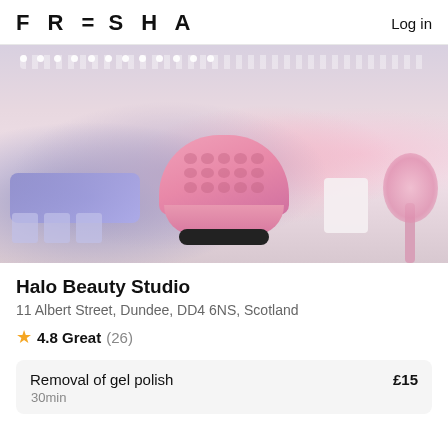FRESHA  Log in
[Figure (photo): Interior of Halo Beauty Studio: a pink and white beauty salon with a large pink tufted circular sofa in the center, blue lit manicure stations on the left, a wall of vanity mirrors with light bulbs in the background, and a pink decorative palm tree on the right.]
Halo Beauty Studio
11 Albert Street, Dundee, DD4 6NS, Scotland
⭐ 4.8 Great (26)
| Service | Price |
| --- | --- |
| Removal of gel polish | £15 |